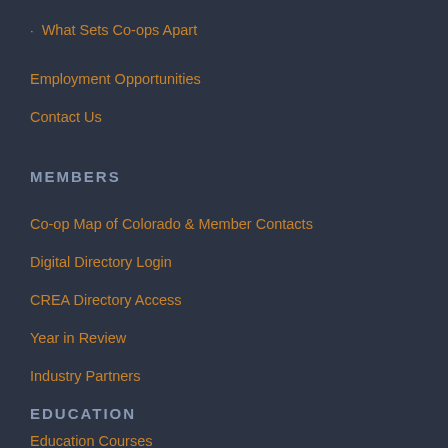What Sets Co-ops Apart
Employment Opportunities
Contact Us
MEMBERS
Co-op Map of Colorado & Member Contacts
Digital Directory Login
CREA Directory Access
Year in Review
Industry Partners
EDUCATION
Education Courses